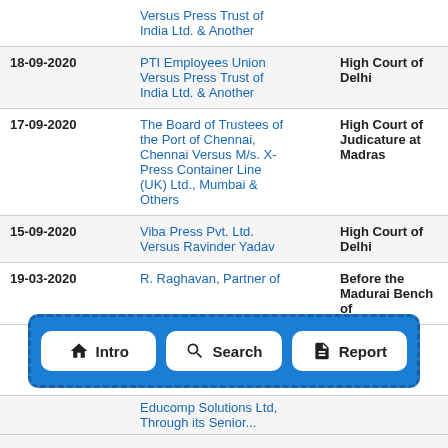| Date | Case | Court |
| --- | --- | --- |
|  | Versus Press Trust of India Ltd. & Another |  |
| 18-09-2020 | PTI Employees Union Versus Press Trust of India Ltd. & Another | High Court of Delhi |
| 17-09-2020 | The Board of Trustees of the Port of Chennai, Chennai Versus M/s. X-Press Container Line (UK) Ltd., Mumbai & Others | High Court of Judicature at Madras |
| 15-09-2020 | Viba Press Pvt. Ltd. Versus Ravinder Yadav | High Court of Delhi |
| 19-03-2020 | R. Raghavan, Partner of ... | Before the Madurai Bench of ... |
[Figure (other): Navigation bar with three buttons: Intro (home icon), Search (magnifying glass icon), Report (document icon), displayed over a blue dashed-border panel.]